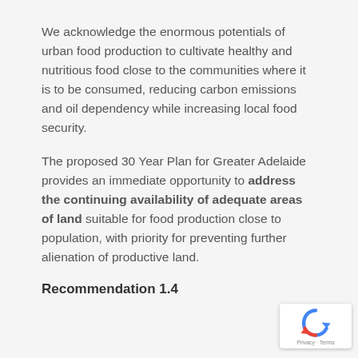We acknowledge the enormous potentials of urban food production to cultivate healthy and nutritious food close to the communities where it is to be consumed, reducing carbon emissions and oil dependency while increasing local food security.
The proposed 30 Year Plan for Greater Adelaide provides an immediate opportunity to address the continuing availability of adequate areas of land suitable for food production close to population, with priority for preventing further alienation of productive land.
Recommendation 1.4